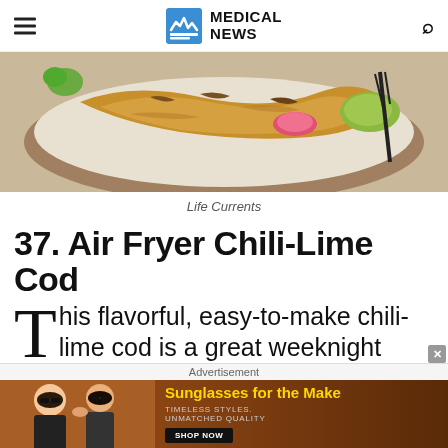MEDICAL NEWS
[Figure (photo): Close-up photo of air fryer chili-lime cod dish with vegetables on a plate]
Life Currents
37. Air Fryer Chili-Lime Cod
This flavorful, easy-to-make chili-lime cod is a great weeknight dinner option,
[Figure (other): Advertisement banner: Sunglasses for the Make - Timeless Styles, Unmatched Quality - Shop Now]